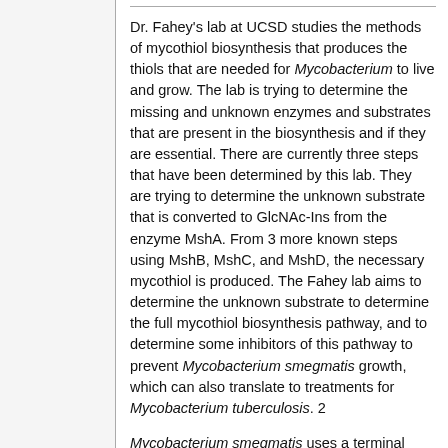Dr. Fahey's lab at UCSD studies the methods of mycothiol biosynthesis that produces the thiols that are needed for Mycobacterium to live and grow. The lab is trying to determine the missing and unknown enzymes and substrates that are present in the biosynthesis and if they are essential. There are currently three steps that have been determined by this lab. They are trying to determine the unknown substrate that is converted to GlcNAc-Ins from the enzyme MshA. From 3 more known steps using MshB, MshC, and MshD, the necessary mycothiol is produced. The Fahey lab aims to determine the unknown substrate to determine the full mycothiol biosynthesis pathway, and to determine some inhibitors of this pathway to prevent Mycobacterium smegmatis growth, which can also translate to treatments for Mycobacterium tuberculosis. 2
Mycobacterium smegmatis uses a terminal oxidase to donate electrons to the final electron acceptor oxygen in oxidative phosphorylation during aerobic respiration. The terminal...